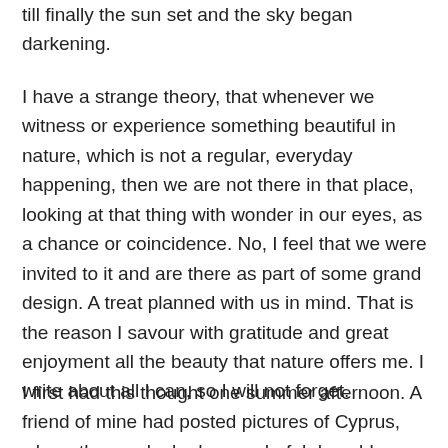till finally the sun set and the sky began darkening.
I have a strange theory, that whenever we witness or experience something beautiful in nature, which is not a regular, everyday happening, then we are not there in that place, looking at that thing with wonder in our eyes, as a chance or coincidence. No, I feel that we were invited to it and are there as part of some grand design. A treat planned with us in mind. That is the reason I savour with gratitude and great enjoyment all the beauty that nature offers me. I write about all I can, so I will not forget.
I first had this thought one summer afternoon. A friend of mine had posted pictures of Cyprus, where the sea looked a wonderful deep blue. The sea in Kuwait had been dull for a long time and I sat there looking at the pictures on my computer screen wishing I could be in a place, where